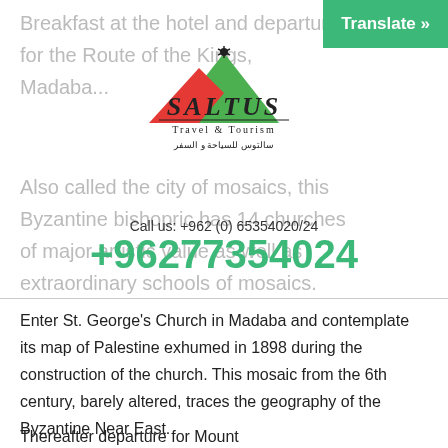Breakfast at the hotel and departure for the Route of the Kings, Madaba...
[Figure (logo): Saltus Travel & Tourism logo with Arabic text]
Also called the city of mosaics, this Byzantine bishopric has 14 churches of major artistic value as well as extraordinary schools of mosaics.
Call us: +962 (0) 65354020/24
+96277354024
Enter St. George's Church in Madaba and contemplate its map of Palestine exhumed in 1898 during the construction of the church. This mosaic from the 6th century, barely altered, traces the geography of the Byzantine Near East.
Thereafter departure for Mount